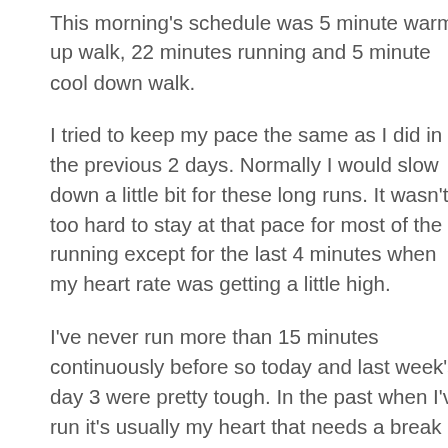This morning's schedule was 5 minute warm-up walk, 22 minutes running and 5 minute cool down walk.
I tried to keep my pace the same as I did in the previous 2 days. Normally I would slow down a little bit for these long runs. It wasn't too hard to stay at that pace for most of the running except for the last 4 minutes when my heart rate was getting a little high.
I've never run more than 15 minutes continuously before so today and last week's day 3 were pretty tough. In the past when I've run it's usually my heart that needs a break and not my legs. This time it was my legs that were aching. Keeping a good pace for my heart is something I'm finally understanding better. Plus in these past few weeks my cardiovascular health has been noticeably better.
I did 2.2 miles in 32 minutes including the warm up/cool down walks averaging 4.1 MPH. I was able to keep my heart rate in